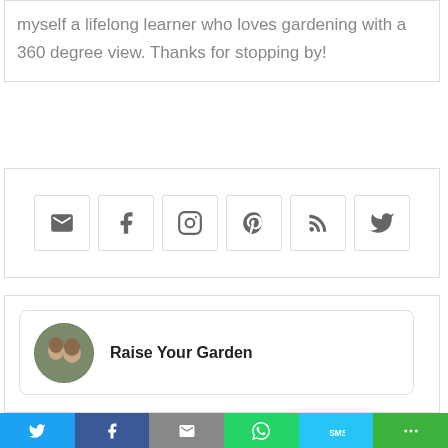myself a lifelong learner who loves gardening with a 360 degree view. Thanks for stopping by!
[Figure (infographic): Social media icon buttons: email, facebook, instagram, pinterest, rss, twitter]
[Figure (illustration): Author card with circular photo of two people and bold name 'Raise Your Garden']
[Figure (infographic): Share bar at bottom: Twitter (blue), Facebook (dark blue), Email (gray), WhatsApp (green), SMS (light blue), More (green)]